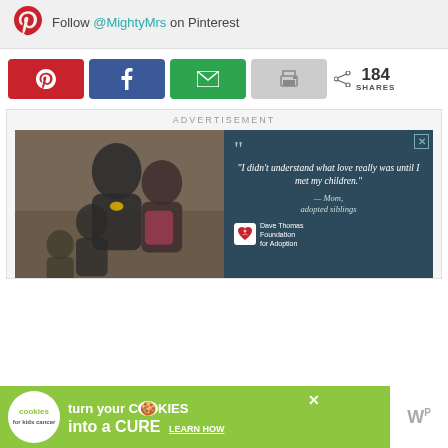Follow @MightyMrs on Pinterest
[Figure (screenshot): Social share buttons row: Pinterest (red), Facebook (blue), Email (green), Print (gray), with share count 184 SHARES]
184 SHARES
ADVERTISEMENT
[Figure (photo): Advertisement showing a family photo on left and a quote on right: "I didn't understand what love really was until I met my children." — Mom, adopted siblings. Dave Thomas Foundation for Adoption logo at bottom.]
[Figure (screenshot): Cookie banner: cookies for kids cancer - turn your COOKIES into a CURE LEARN HOW]